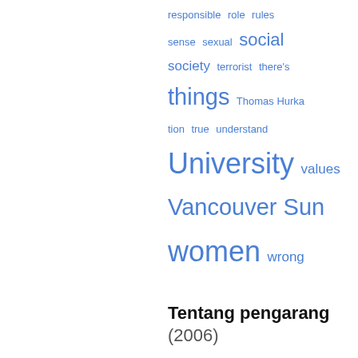[Figure (infographic): Tag cloud with words in varying sizes in blue: responsible, role, rules, sense, sexual, social, society, terrorist, there's, things, Thomas Hurka, tion, true, understand, University, values, Vancouver Sun, women, wrong]
Tentang pengarang (2006)
Andrew D. Irvine is a professor in the Department of Philosophy at the University of British Columbia.
John S. Russell is an